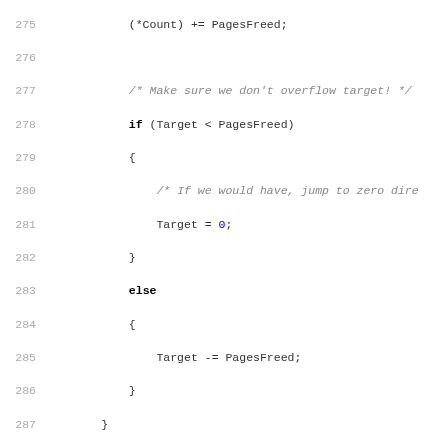[Figure (screenshot): Source code listing showing C code lines 275-306, a function with page freeing logic and a CciLazyWriter function definition. Uses syntax highlighting with blue for function names and keywords, red for strings, gray for line numbers and comments.]